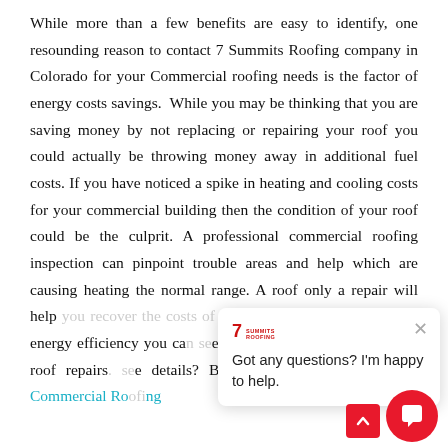While more than a few benefits are easy to identify, one resounding reason to contact 7 Summits Roofing company in Colorado for your Commercial roofing needs is the factor of energy costs savings. While you may be thinking that you are saving money by not replacing or repairing your roof you could actually be throwing money away in additional fuel costs. If you have noticed a spike in heating and cooling costs for your commercial building then the condition of your roof could be the culprit. A professional commercial roofing inspection can pinpoint trouble areas and help which are causing heating the normal range. A roof only a repair will help you recover the costs of the services from the improved energy efficiency you can see as a result of your commercial roof repairs. See details? Be sure to read our complete Commercial Roofing